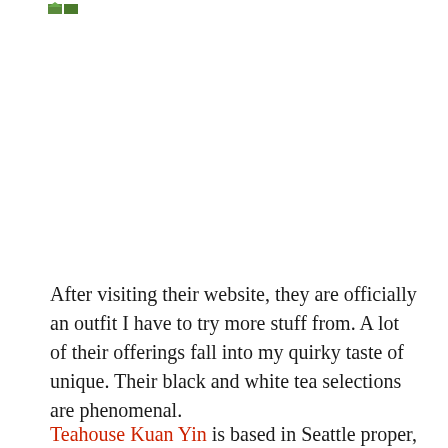[Figure (other): Small green logo/icon in the top-left header area]
After visiting their website, they are officially an outfit I have to try more stuff from. A lot of their offerings fall into my quirky taste of unique. Their black and white tea selections are phenomenal.
Teahouse Kuan Yin is based in Seattle proper, and I